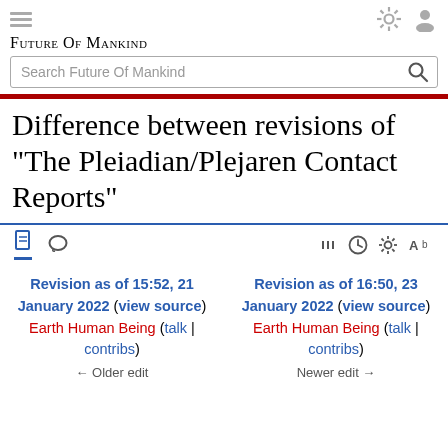Future Of Mankind
Difference between revisions of "The Pleiadian/Plejaren Contact Reports"
Revision as of 15:52, 21 January 2022 (view source) Earth Human Being (talk | contribs)
Revision as of 16:50, 23 January 2022 (view source) Earth Human Being (talk | contribs)